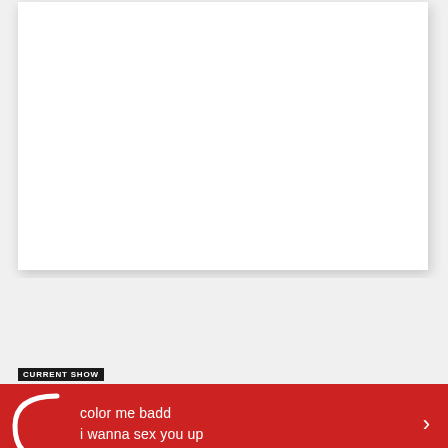[Figure (other): White card/panel with drop shadow on light gray background]
CURRENT SHOW
color me badd
i wanna sex you up